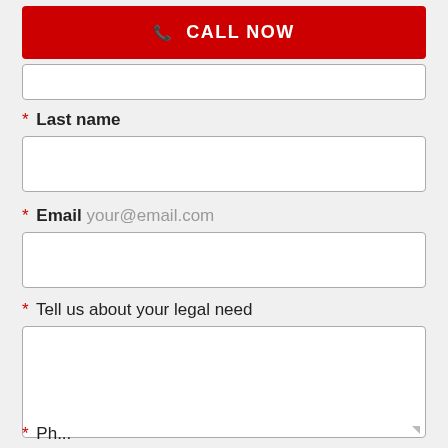[Figure (other): Red CALL NOW button with phone icon]
* Last name
[Figure (other): Empty text input field for Last name]
* Email your@email.com
[Figure (other): Empty text input field for Email]
* Tell us about your legal need
[Figure (other): Empty large textarea for legal need description]
* Ph...